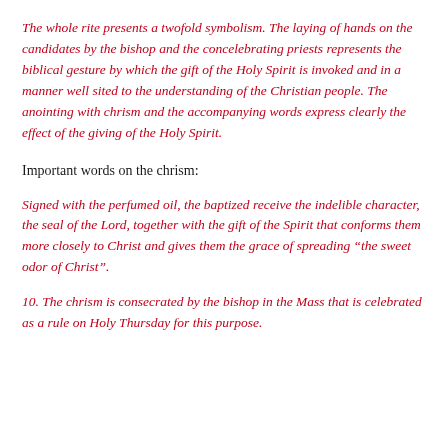The whole rite presents a twofold symbolism. The laying of hands on the candidates by the bishop and the concelebrating priests represents the biblical gesture by which the gift of the Holy Spirit is invoked and in a manner well sited to the understanding of the Christian people. The anointing with chrism and the accompanying words express clearly the effect of the giving of the Holy Spirit.
Important words on the chrism:
Signed with the perfumed oil, the baptized receive the indelible character, the seal of the Lord, together with the gift of the Spirit that conforms them more closely to Christ and gives them the grace of spreading “the sweet odor of Christ”.
10. The chrism is consecrated by the bishop in the Mass that is celebrated as a rule on Holy Thursday for this purpose.